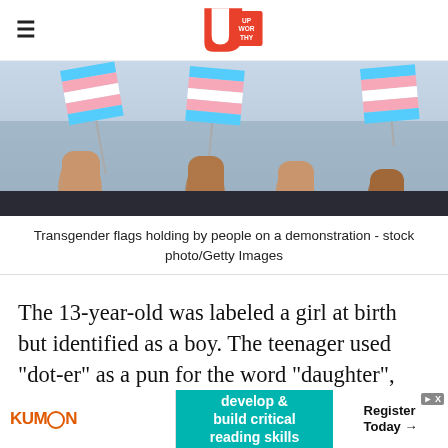Upworthy
[Figure (photo): Several hands holding transgender pride flags (blue, pink, white striped) at a demonstration, against a blurred outdoor background.]
Transgender flags holding by people on a demonstration - stock photo/Getty Images
The 13-year-old was labeled a girl at birth but identified as a boy. The teenager used "dot-er" as a pun for the word "daughter", and "sun", as a pun for the word "sun." He came out to his moth… [ad overlaps] syn…